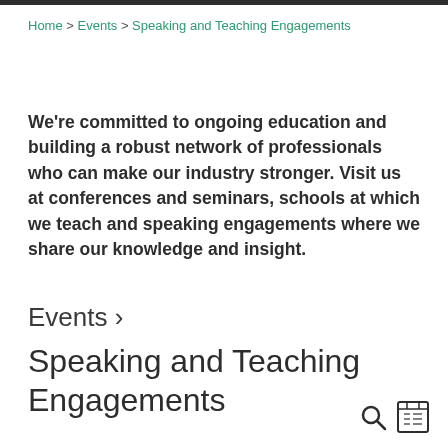Home > Events > Speaking and Teaching Engagements
We're committed to ongoing education and building a robust network of professionals who can make our industry stronger. Visit us at conferences and seminars, schools at which we teach and speaking engagements where we share our knowledge and insight.
Events ›
Speaking and Teaching Engagements